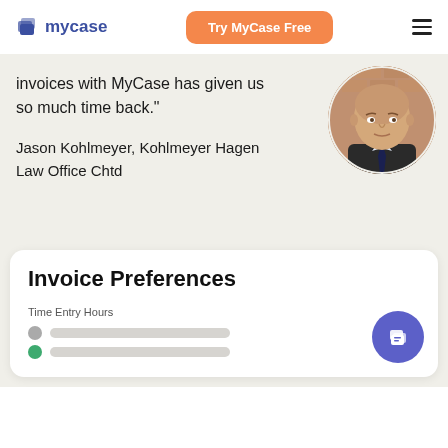mycase | Try MyCase Free
invoices with MyCase has given us so much time back."
Jason Kohlmeyer, Kohlmeyer Hagen Law Office Chtd
[Figure (photo): Circular portrait photo of Jason Kohlmeyer, a bald man in a dark suit and tie, against a brick background]
Invoice Preferences
Time Entry Hours